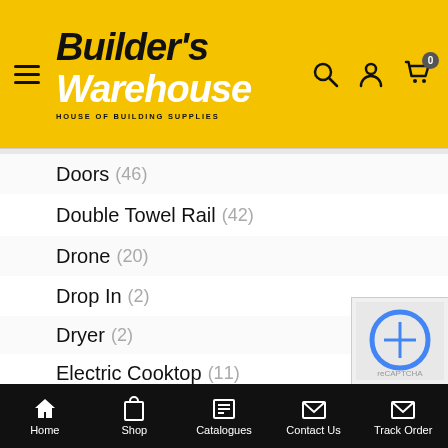[Figure (logo): Builder's Warehouse logo - yellow header with hamburger menu, logo text, search/user/cart icons]
Doors (46)
Double Towel Rail (42)
Drone (20)
Drop In (2)
Dryer (2)
Electric Cooktop (11)
Entrance Doors (16)
Featured Product (5)
Floor - Shower Wastes (9)
Home  Shop  Catalogues  Contact Us  Track Order